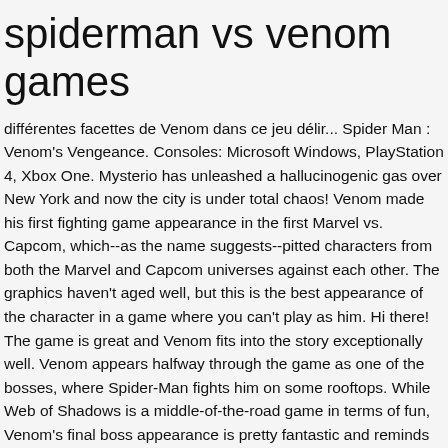spiderman vs venom games
différentes facettes de Venom dans ce jeu délir... Spider Man : Venom's Vengeance. Consoles: Microsoft Windows, PlayStation 4, Xbox One. Mysterio has unleashed a hallucinogenic gas over New York and now the city is under total chaos! Venom made his first fighting game appearance in the first Marvel vs. Capcom, which--as the name suggests--pitted characters from both the Marvel and Capcom universes against each other. The graphics haven't aged well, but this is the best appearance of the character in a game where you can't play as him. Hi there! The game is great and Venom fits into the story exceptionally well. Venom appears halfway through the game as one of the bosses, where Spider-Man fights him on some rooftops. While Web of Shadows is a middle-of-the-road game in terms of fun, Venom's final boss appearance is pretty fantastic and reminds players of another time he appeared in a video game, which you'll see on the next page. This page contains free online games featuring Venom, one of the villains from the Spiderman universe. Carnage Vs Venom. LEGO Marvel Spider-Man Spider-Jet vs. Venom Mech 76150 Building Kit "There's